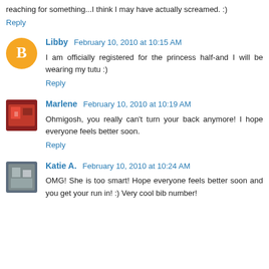reaching for something...I think I may have actually screamed. :)
Reply
Libby  February 10, 2010 at 10:15 AM
I am officially registered for the princess half-and I will be wearing my tutu :)
Reply
Marlene  February 10, 2010 at 10:19 AM
Ohmigosh, you really can't turn your back anymore! I hope everyone feels better soon.
Reply
Katie A.  February 10, 2010 at 10:24 AM
OMG! She is too smart! Hope everyone feels better soon and you get your run in! :) Very cool bib number!